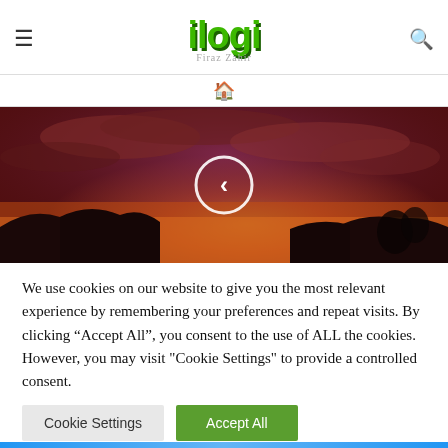ilogi — Firaz Zahir
[Figure (photo): Sunset landscape with dramatic reddish-orange sky, silhouetted terrain and figures, with a circular left-arrow navigation button overlaid in the center]
We use cookies on our website to give you the most relevant experience by remembering your preferences and repeat visits. By clicking “Accept All”, you consent to the use of ALL the cookies. However, you may visit "Cookie Settings" to provide a controlled consent.
Cookie Settings   Accept All